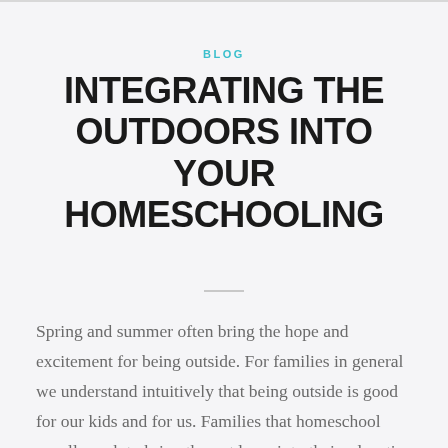BLOG
INTEGRATING THE OUTDOORS INTO YOUR HOMESCHOOLING
Spring and summer often bring the hope and excitement for being outside. For families in general we understand intuitively that being outside is good for our kids and for us. Families that homeschool usually seek to bring the outdoors into their education for their children. In this series we will explore how best to